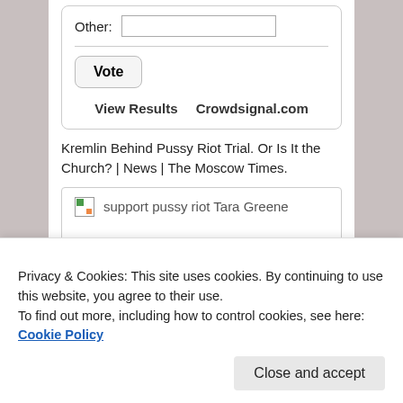[Figure (screenshot): Poll widget with 'Other:' text input field, a Vote button, View Results and Crowdsignal.com links]
Kremlin Behind Pussy Riot Trial. Or Is It the Church? | News | The Moscow Times.
[Figure (screenshot): Broken image placeholder with alt text 'support pussy riot Tara Greene']
Privacy & Cookies: This site uses cookies. By continuing to use this website, you agree to their use.
To find out more, including how to control cookies, see here: Cookie Policy
Close and accept